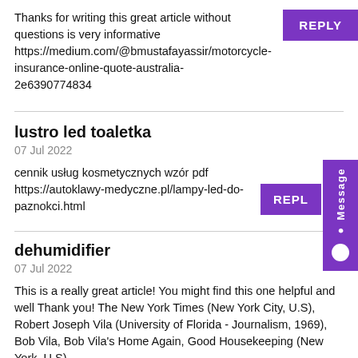Thanks for writing this great article without questions is very informative https://medium.com/@bmustafayassir/motorcycle-insurance-online-quote-australia-2e6390774834
lustro led toaletka
07 Jul 2022
cennik usług kosmetycznych wzór pdf https://autoklawy-medyczne.pl/lampy-led-do-paznokci.html
dehumidifier
07 Jul 2022
This is a really great article! You might find this one helpful and well Thank you! The New York Times (New York City, U.S), Robert Joseph Vila (University of Florida - Journalism, 1969), Bob Vila, Bob Vila's Home Again, Good Housekeeping (New York, U.S) https://dehumidifiersbasements44.z13.web.core.windows.net/